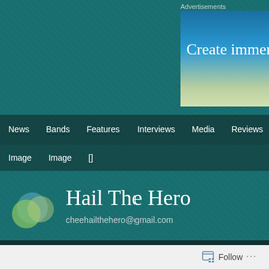Advertisements
[Figure (screenshot): Blue advertisement banner with text 'Create immersive sto...' partially visible]
News | Bands | Features | Interviews | Media | Reviews
Image | Image | []
Hail The Hero
cheehailthehero@gmail.com
Art | Bands | Contests | Features | Free Thought | Inte...
Follow ...